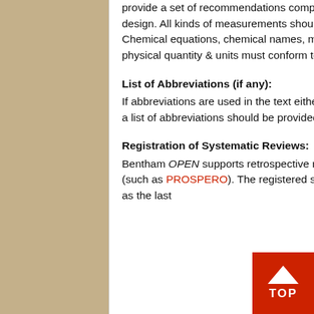provide a set of recommendations comprising a list of items relevant to their specific research design. All kinds of measurements should be reported only in International System of Units (SI). Chemical equations, chemical names, mathematical usage, unit of measurements, chemical and physical quantity & units must conform to SI and Chemical Abstracts or IUPAC.
List of Abbreviations (if any):
If abbreviations are used in the text either they should be defined in the text where first used, or a list of abbreviations should be provided.
Registration of Systematic Reviews:
Bentham OPEN supports retrospective registration of systematic reviews, in a suitable registry (such as PROSPERO). The registered systematic review must include the registration number as the last